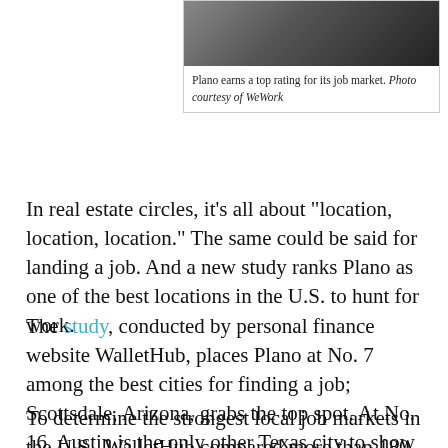[Figure (photo): Partial photo of a person near a WeWork office space, dark background]
Plano earns a top rating for its job market. Photo courtesy of WeWork
In real estate circles, it’s all about “location, location, location.” The same could be said for landing a job. And a new study ranks Plano as one of the best locations in the U.S. to hunt for work.
The study, conducted by personal finance website WalletHub, places Plano at No. 7 among the best cities for finding a job; Scottsdale, Arizona, grabs the top spot. At No. 16, Austin is the only other Texas city to show up in the top 20.
To determine the strongest local job markets in the U.S., WalletHub compared more than 180 cities across 30 key